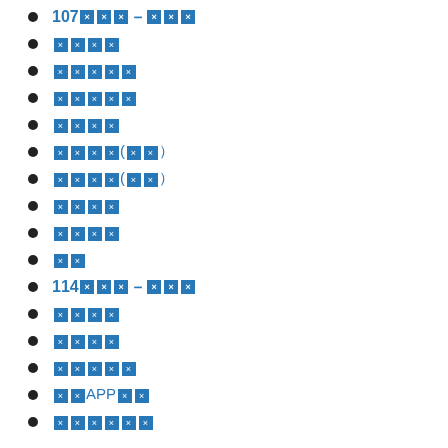107▨▨▨-▨▨▨
▨▨▨▨
▨▨▨▨▨
▨▨▨▨▨
▨▨▨▨
▨▨▨▨(▨▨)
▨▨▨▨(▨▨)
▨▨▨▨
▨▨▨▨
▨▨
114▨▨▨-▨▨▨
▨▨▨▨
▨▨▨▨
▨▨▨▨▨
▨▨APP▨▨
▨▨▨▨▨▨